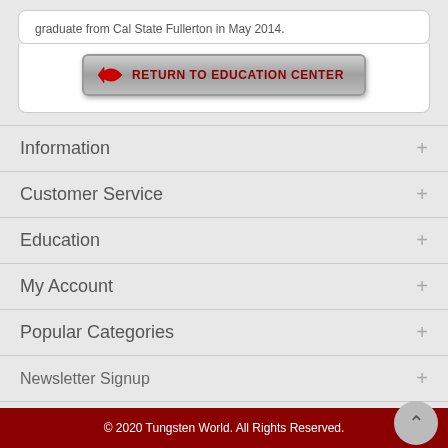graduate from Cal State Fullerton in May 2014.
[Figure (screenshot): Button labeled RETURN TO EDUCATION CENTER with a red arrow icon on a silver metallic background]
Information +
Customer Service +
Education +
My Account +
Popular Categories +
Newsletter Signup +
[Figure (infographic): Row of social media icons: Facebook, Twitter, Google+, Pinterest, LinkedIn, Yelp, YouTube, Blogger]
© 2020 Tungsten World. All Rights Reserved.